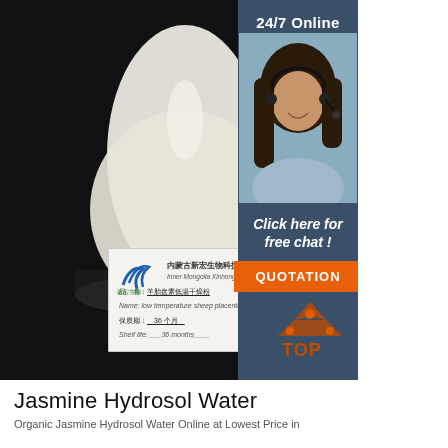[Figure (photo): Product photo of white/cream powder in a glass container on dark background, with a label card from Inner Mongolia Xinhong Biotech Company Limited showing product name 'low temperature sheep placenta drying powder', shelf life 36 months. Sidebar shows a customer service agent photo with '24/7 Online' text, 'Click here for free chat!' and 'QUOTATION' button. A 'TOP' badge in orange appears at bottom right.]
Jasmine Hydrosol Water
Organic Jasmine Hydrosol Water Online at Lowest Price in